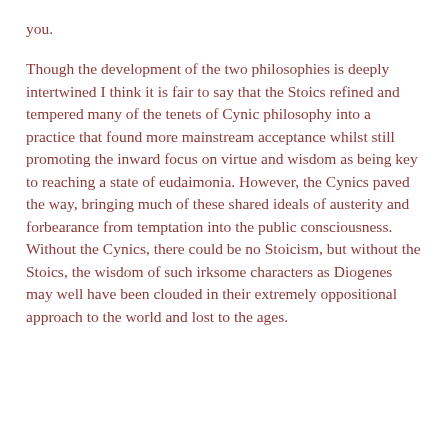you.
Though the development of the two philosophies is deeply intertwined I think it is fair to say that the Stoics refined and tempered many of the tenets of Cynic philosophy into a practice that found more mainstream acceptance whilst still promoting the inward focus on virtue and wisdom as being key to reaching a state of eudaimonia. However, the Cynics paved the way, bringing much of these shared ideals of austerity and forbearance from temptation into the public consciousness. Without the Cynics, there could be no Stoicism, but without the Stoics, the wisdom of such irksome characters as Diogenes may well have been clouded in their extremely oppositional approach to the world and lost to the ages.